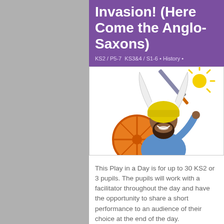Invasion! (Here Come the Anglo-Saxons)
KS2 / P5-7  KS3&4 / S1-6 • History •
[Figure (illustration): Cartoon illustration of a bearded man wearing a Viking helmet with horns, holding a sword and a round orange shield, with a sun in the upper right corner.]
This Play in a Day is for up to 30 KS2 or 3 pupils. The pupils will work with a facilitator throughout the day and have the opportunity to share a short performance to an audience of their choice at the end of the day.